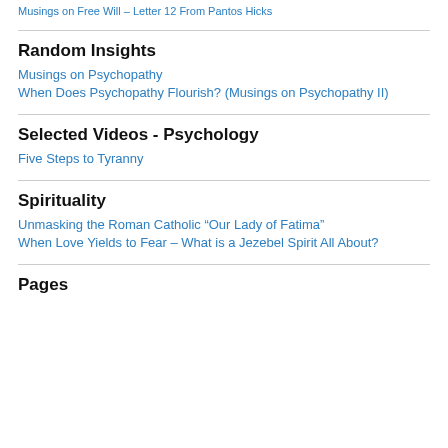Musings on Free Will – Letter 12 From Pantos Hicks
Random Insights
Musings on Psychopathy
When Does Psychopathy Flourish? (Musings on Psychopathy II)
Selected Videos - Psychology
Five Steps to Tyranny
Spirituality
Unmasking the Roman Catholic “Our Lady of Fatima”
When Love Yields to Fear – What is a Jezebel Spirit All About?
Pages